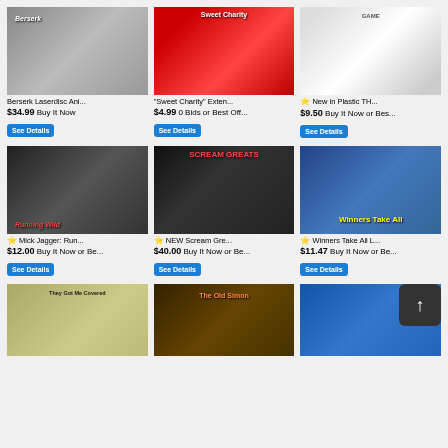[Figure (screenshot): E-commerce listing grid showing laserdisc and media items for sale with prices and See Details buttons. 3 columns, 3 rows visible.]
Berserk Laserdisc Ani...
$34.99 Buy It Now
"Sweet Charity" Exten...
$4.99 0 Bids or Best Off...
New in Plastic TH...
$9.50 Buy It Now or Bes...
Mick Jagger: Run...
$12.00 Buy It Now or Be...
NEW Scream Gre...
$40.00 Buy It Now or Be...
Winners Take All L...
$11.47 Buy It Now or Be...